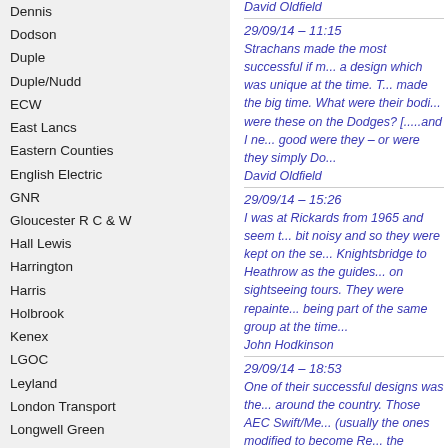Dennis
Dodson
Duple
Duple/Nudd
ECW
East Lancs
Eastern Counties
English Electric
GNR
Gloucester R C & W
Hall Lewis
Harrington
Harris
Holbrook
Kenex
LGOC
Leyland
London Transport
Longwell Green
MCCW
MCW
METSEC
MH Cars
Mann Egerton
Marshall
Martin Walker
Massey
Metalcraft
Metro-Cammell
Moulton
David Oldfield
29/09/14 – 11:15
Strachans made the most successful if m... a design which was unique at the time. T... made the big time. What were their bodi... were these on the Dodges? [.....and I ne... good were they – or were they simply Do...
David Oldfield
29/09/14 – 15:26
I was at Rickards from 1965 and seem t... bit noisy and so they were kept on the se... Knightsbridge to Heathrow as the guides... on sightseeing tours. They were repainte... being part of the same group at the time...
John Hodkinson
29/09/14 – 18:53
One of the successful designs was the... around the country. Those AEC Swift/Me... (usually the ones modified to become Re... the bodies are reported to have been we... With only six of the Dodges built, it woul... had!
It maybe that the bodies do look the lik...